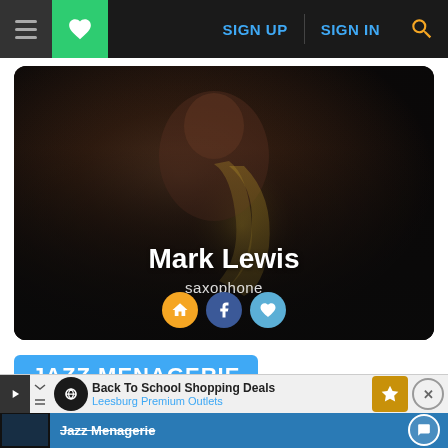[Figure (screenshot): Website navigation bar with hamburger menu, green heart/favorite button, SIGN UP and SIGN IN links in blue, and yellow search icon on dark background]
[Figure (photo): Artist profile card showing a man playing saxophone in dark moody lighting. Name 'Mark Lewis', instrument 'saxophone', with home, Facebook, and favorite icon buttons at bottom]
Mark Lewis
saxophone
JAZZ MENAGERIE
[Figure (screenshot): Bottom partial band/row showing Jazz Menagerie text on blue background with thumbnail image and circular button]
Back To School Shopping Deals Leesburg Premium Outlets